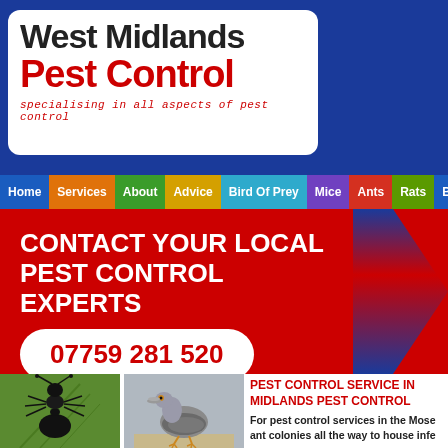[Figure (logo): West Midlands Pest Control logo — white rounded box on dark blue header background. Large dark text 'West Midlands' above large red 'Pest Control', with italic red tagline 'specialising in all aspects of pest control'.]
Home | Services | About | Advice | Bird Of Prey | Mice | Ants | Rats | Birds
CONTACT YOUR LOCAL PEST CONTROL EXPERTS
07759 281 520
[Figure (photo): Close-up photo of a large black ant on a green leaf surface.]
[Figure (photo): Photo of a wood pigeon standing on a surface.]
PEST CONTROL SERVICE IN MIDLANDS PEST CONTROL
For pest control services in the Mose ant colonies all the way to house infe